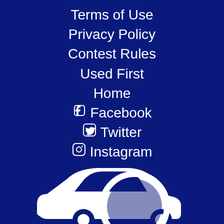Terms of Use
Privacy Policy
Contest Rules
Used First
Home
Facebook
Twitter
Instagram
[Figure (illustration): White silhouette icon of a car with a magnifying glass overlaid on it, against a dark navy blue background]